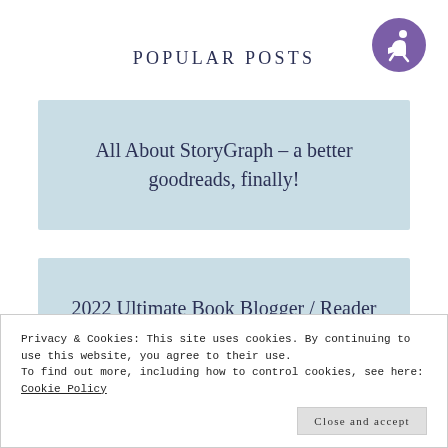[Figure (logo): Circular purple logo with a stylized person reading/sitting icon in white on purple background]
POPULAR POSTS
All About StoryGraph – a better goodreads, finally!
2022 Ultimate Book Blogger / Reader Spreadsheet Template
Privacy & Cookies: This site uses cookies. By continuing to use this website, you agree to their use.
To find out more, including how to control cookies, see here: Cookie Policy
Close and accept